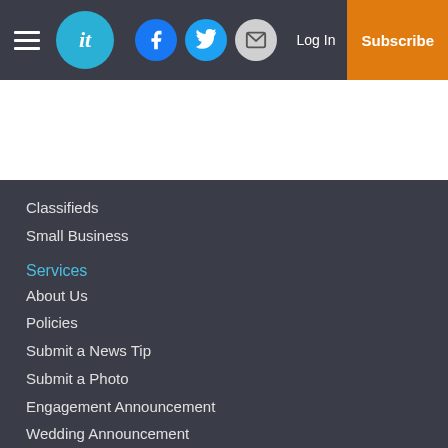it | Log In | Subscribe
Classifieds
Small Business
Services
About Us
Policies
Submit a News Tip
Submit a Photo
Engagement Announcement
Wedding Announcement
Submit A Classified Advertisement
Submit a Letter to the Editor
Copyright
© 2022, The Tribune